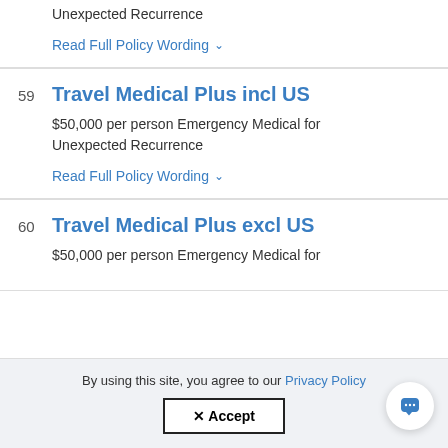Unexpected Recurrence
Read Full Policy Wording ▾
59  Travel Medical Plus incl US
$50,000 per person Emergency Medical for Unexpected Recurrence
Read Full Policy Wording ▾
60  Travel Medical Plus excl US
$50,000 per person Emergency Medical for
By using this site, you agree to our Privacy Policy
✕ Accept